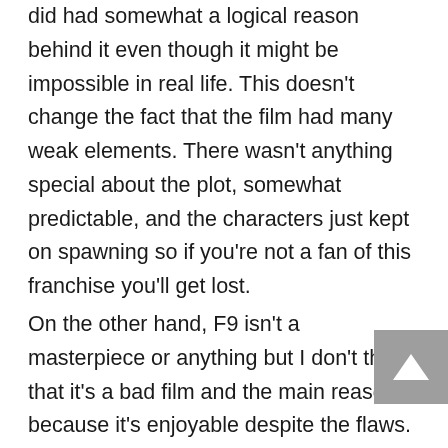did had somewhat a logical reason behind it even though it might be impossible in real life. This doesn't change the fact that the film had many weak elements. There wasn't anything special about the plot, somewhat predictable, and the characters just kept on spawning so if you're not a fan of this franchise you'll get lost.
On the other hand, F9 isn't a masterpiece or anything but I don't think that it's a bad film and the main reason is because it's enjoyable despite the flaws. This film wanted to take the action sequence to a different level and to be honest, it did that. The VFX and the “exaggerated” action sequences were up to par. Additionally, the family theme that this film tackle was heartwarming and alright. Give this film a chance and just enjoy it.